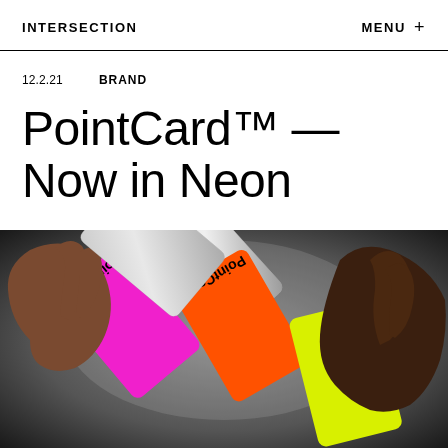INTERSECTION   MENU +
12.2.21   BRAND
PointCard™ — Now in Neon
[Figure (photo): Two hands holding and fanning out neon-colored PointCard credit/debit cards (pink, orange, yellow, and silver) against a dark gradient background]